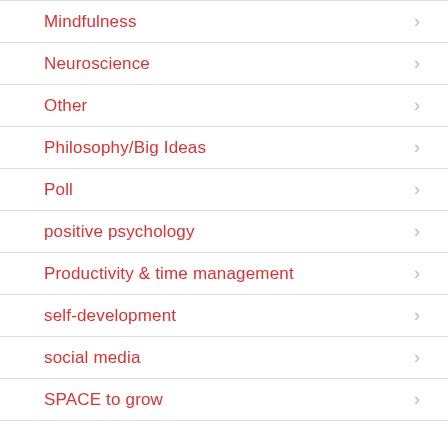Mindfulness
Neuroscience
Other
Philosophy/Big Ideas
Poll
positive psychology
Productivity & time management
self-development
social media
SPACE to grow